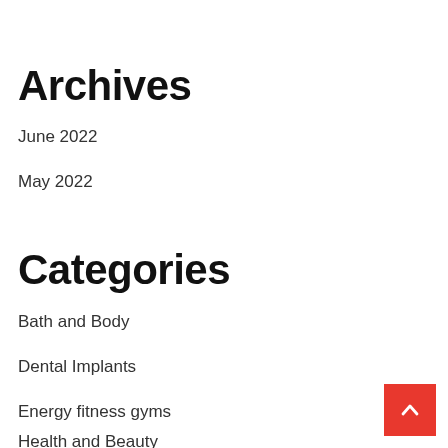Archives
June 2022
May 2022
Categories
Bath and Body
Dental Implants
Energy fitness gyms
Health and Beauty